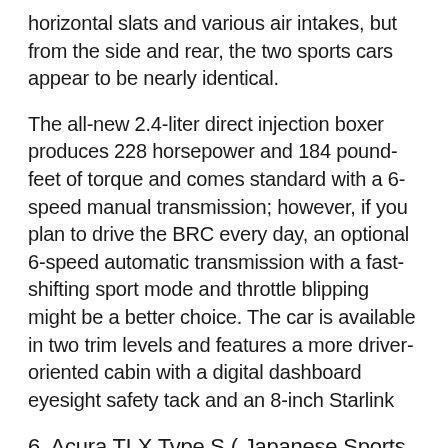horizontal slats and various air intakes, but from the side and rear, the two sports cars appear to be nearly identical.
The all-new 2.4-liter direct injection boxer produces 228 horsepower and 184 pound-feet of torque and comes standard with a 6-speed manual transmission; however, if you plan to drive the BRC every day, an optional 6-speed automatic transmission with a fast-shifting sport mode and throttle blipping might be a better choice. The car is available in two trim levels and features a more driver-oriented cabin with a digital dashboard eyesight safety tack and an 8-inch Starlink
6. Acura TLX Type S ( Japanese Sports Cars )